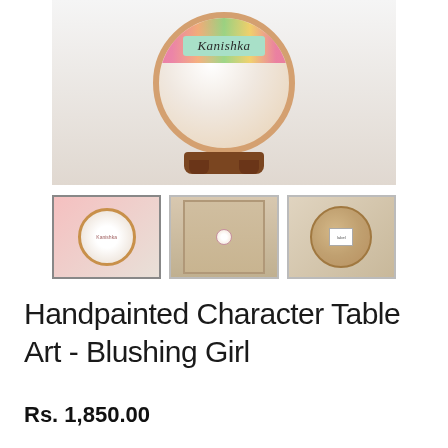[Figure (photo): Main product photo showing a handpainted circular plate/art piece with 'Kanishka' text on a banner, decorated with flowers, displayed on a wooden stand against a light background.]
[Figure (photo): Thumbnail 1: Close-up of the round handpainted plate with a girl character and floral design, on a pink-beige background.]
[Figure (photo): Thumbnail 2: The plate hanging on a door.]
[Figure (photo): Thumbnail 3: Back side of the round plate showing plain wood with a small label.]
Handpainted Character Table Art - Blushing Girl
Rs. 1,850.00